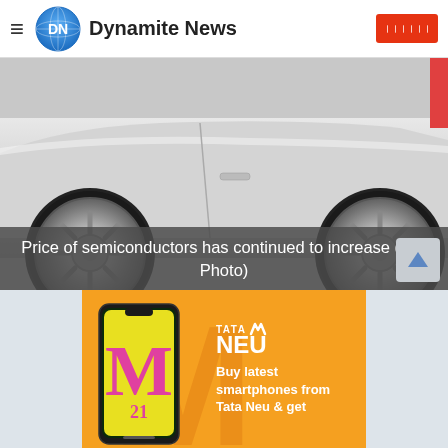Dynamite News
[Figure (photo): Close-up photo of a silver car's wheels and lower body panel, showing alloy wheels and side bodywork]
Price of semiconductors has continued to increase (File Photo)
[Figure (infographic): Tata Neu advertisement banner on orange background with large M letter. Shows a Samsung smartphone and text: Buy latest smartphones from Tata Neu & get (cut off). Tata Neu logo in top right.]